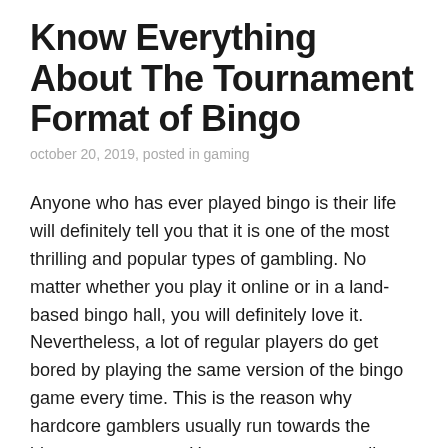Know Everything About The Tournament Format of Bingo
october 20, 2019, posted in gaming
Anyone who has ever played bingo is their life will definitely tell you that it is one of the most thrilling and popular types of gambling. No matter whether you play it online or in a land-based bingo hall, you will definitely love it. Nevertheless, a lot of regular players do get bored by playing the same version of the bingo game every time. This is the reason why hardcore gamblers usually run towards the bingo tournaments. However, not every online casino or bingo hall offers bingo tournaments. Moreover, not many players are familiar with the tournament format of the game. Therefore, let us provide you some information about